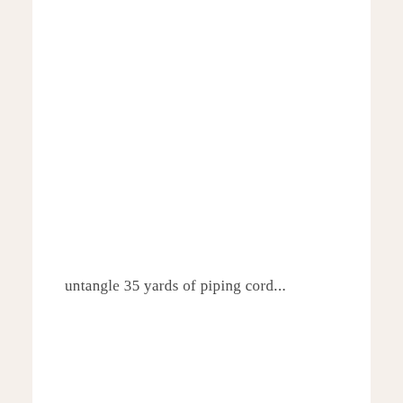untangle 35 yards of piping cord...